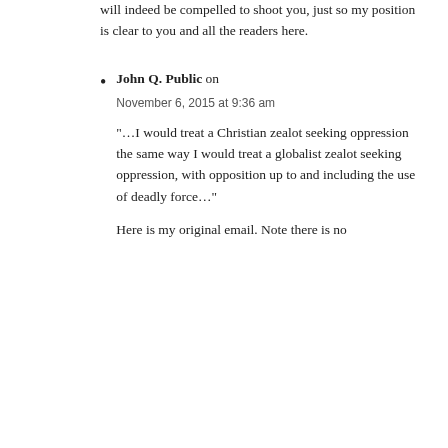will indeed be compelled to shoot you, just so my position is clear to you and all the readers here.
John Q. Public on November 6, 2015 at 9:36 am
"…I would treat a Christian zealot seeking oppression the same way I would treat a globalist zealot seeking oppression, with opposition up to and including the use of deadly force…"
Here is my original email. Note there is no